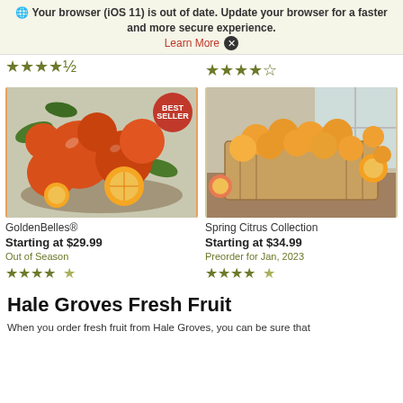Your browser (iOS 11) is out of date. Update your browser for a faster and more secure experience. Learn More X
[Figure (screenshot): Star rating (4.5 stars) partially cropped at top left]
[Figure (screenshot): Star rating (4.5 stars) at top right]
[Figure (photo): GoldenBelles oranges in a bowl with a Best Seller badge]
GoldenBelles®
Starting at $29.99
Out of Season
★★★★½ (4.5 stars)
[Figure (photo): Spring Citrus Collection in a crate box on a wooden table]
Spring Citrus Collection
Starting at $34.99
Preorder for Jan, 2023
★★★★½ (4.5 stars)
Hale Groves Fresh Fruit
When you order fresh fruit from Hale Groves, you can be sure that